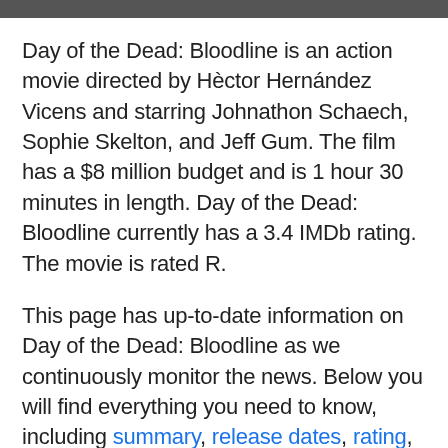Day of the Dead: Bloodline is an action movie directed by Hèctor Hernández Vicens and starring Johnathon Schaech, Sophie Skelton, and Jeff Gum. The film has a $8 million budget and is 1 hour 30 minutes in length. Day of the Dead: Bloodline currently has a 3.4 IMDb rating. The movie is rated R.
This page has up-to-date information on Day of the Dead: Bloodline as we continuously monitor the news. Below you will find everything you need to know, including summary, release dates, rating, runtime, movie budget and, box office results.